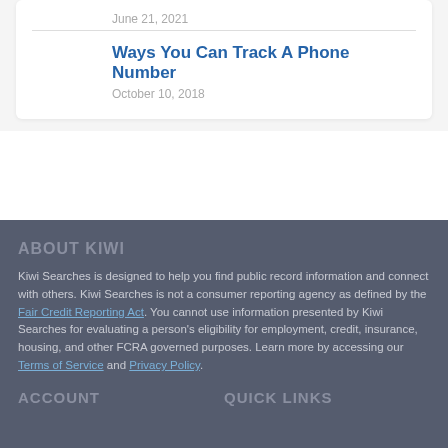June 21, 2021
Ways You Can Track A Phone Number
October 10, 2018
ABOUT KIWI
Kiwi Searches is designed to help you find public record information and connect with others. Kiwi Searches is not a consumer reporting agency as defined by the Fair Credit Reporting Act. You cannot use information presented by Kiwi Searches for evaluating a person's eligibility for employment, credit, insurance, housing, and other FCRA governed purposes. Learn more by accessing our Terms of Service and Privacy Policy.
ACCOUNT
QUICK LINKS